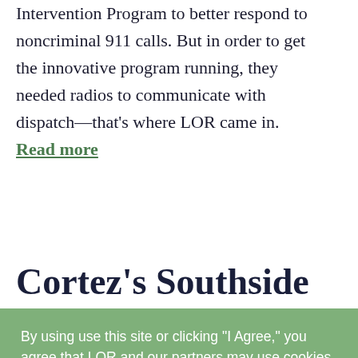Montezuma County launched its Community Intervention Program to better respond to noncriminal 911 calls. But in order to get the innovative program running, they needed radios to communicate with dispatch—that's where LOR came in. Read more
Cortez's Southside
By using use this site or clicking "I Agree," you agree that LOR and our partners may use cookies and some personal data for personalization and analytics. Read our Privacy Policy.
I AGREE